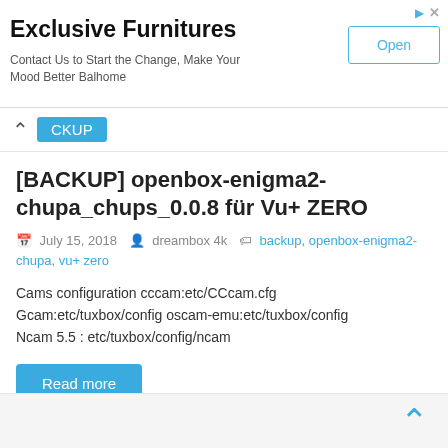[Figure (other): Advertisement banner: Exclusive Furnitures — Contact Us to Start the Change, Make Your Mood Better Balhome — Open button]
BACKUP
[BACKUP] openbox-enigma2-chupa_chups_0.0.8 für Vu+ ZERO
July 15, 2018  dreambox 4k  backup, openbox-enigma2-chupa, vu+ zero
Cams configuration cccam:etc/CCcam.cfg Gcam:etc/tuxbox/config oscam-emu:etc/tuxbox/config Ncam 5.5 : etc/tuxbox/config/ncam
Read more